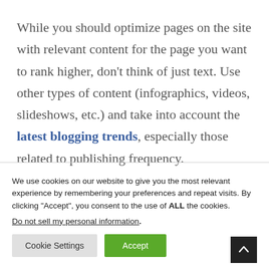While you should optimize pages on the site with relevant content for the page you want to rank higher, don't think of just text. Use other types of content (infographics, videos, slideshows, etc.) and take into account the latest blogging trends, especially those related to publishing frequency.
We use cookies on our website to give you the most relevant experience by remembering your preferences and repeat visits. By clicking “Accept”, you consent to the use of ALL the cookies.
Do not sell my personal information.